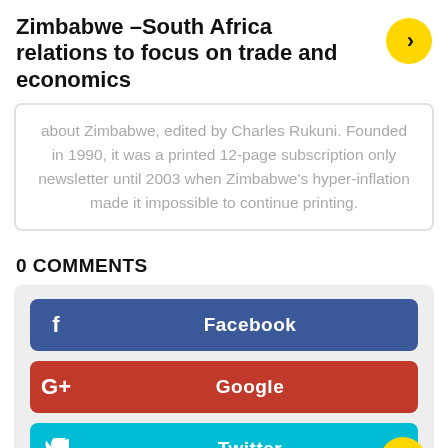Zimbabwe –South Africa relations to focus on trade and economics
about Zimbabwe, edited by Charles Rukuni. Founded in 1990, it was a printed 12-page subscription only newsletter until 2003 when Zimbabwe's hyper-inflation made it impossible to continue printing.
0 COMMENTS
[Figure (screenshot): Social share buttons: Facebook (blue), Google+ (red), Twitter (cyan), with yellow circular navigation arrows]